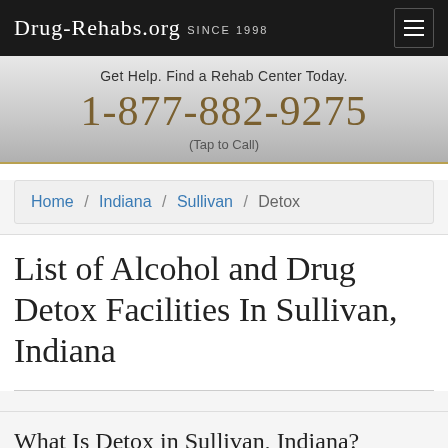Drug-Rehabs.org Since 1998
Get Help. Find a Rehab Center Today.
1-877-882-9275
(Tap to Call)
Home / Indiana / Sullivan / Detox
List of Alcohol and Drug Detox Facilities In Sullivan, Indiana
What Is Detox in Sullivan, Indiana?
Detox, also known as detoxification, is typically the first